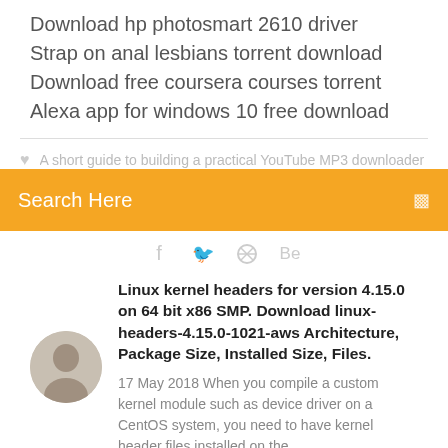Download hp photosmart 2610 driver
Strap on anal lesbians torrent download
Download free coursera courses torrent
Alexa app for windows 10 free download
A short guide to building a practical YouTube MP3 downloader
Search Here
[Figure (screenshot): Social media icons: Facebook, Twitter, Dribbble, Behance]
Linux kernel headers for version 4.15.0 on 64 bit x86 SMP. Download linux-headers-4.15.0-1021-aws Architecture, Package Size, Installed Size, Files.
17 May 2018 When you compile a custom kernel module such as device driver on a CentOS system, you need to have kernel header files installed on the